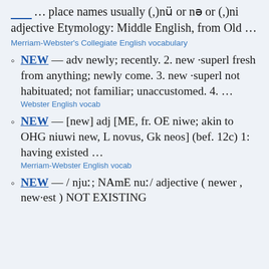place names usually (,)nü or nə or (,)ni adjective Etymology: Middle English, from Old …
Merriam-Webster's Collegiate English vocabulary
NEW — adv newly; recently. 2. new ·superl fresh from anything; newly come. 3. new ·superl not habituated; not familiar; unaccustomed. 4. …
Webster English vocab
NEW — [new] adj [ME, fr. OE niwe; akin to OHG niuwi new, L novus, Gk neos] (bef. 12c) 1: having existed …
Merriam-Webster English vocab
NEW — / njuː; NAmE nuː/ adjective ( newer , new·est ) NOT EXISTING